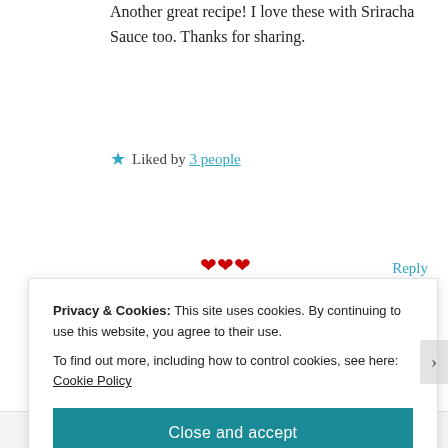Another great recipe! I love these with Sriracha Sauce too. Thanks for sharing.
★ Liked by 3 people
Reply
libarah
December 3, 2018 at 7:29 pm
Privacy & Cookies: This site uses cookies. By continuing to use this website, you agree to their use.
To find out more, including how to control cookies, see here: Cookie Policy
Close and accept